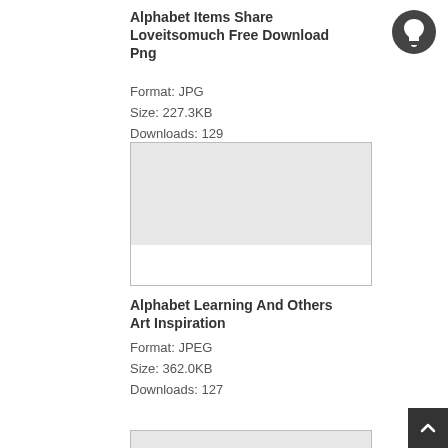Alphabet Items Share Loveitsomuch Free Download Png
Format: JPG
Size: 227.3KB
Downloads: 129
[Figure (photo): Placeholder image rectangle with light gray fill and white lower section]
Alphabet Learning And Others Art Inspiration
Format: JPEG
Size: 362.0KB
Downloads: 127
[Figure (photo): Bottom strip of another image placeholder]